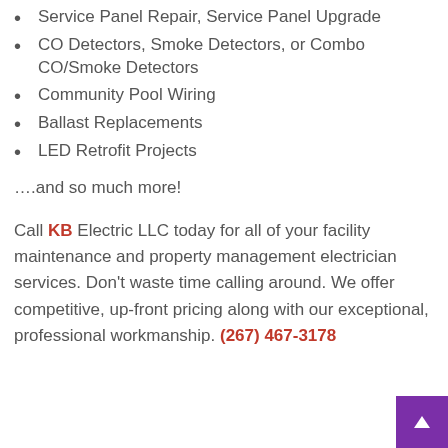Service Panel Repair, Service Panel Upgrade
CO Detectors, Smoke Detectors, or Combo CO/Smoke Detectors
Community Pool Wiring
Ballast Replacements
LED Retrofit Projects
….and so much more!
Call KB Electric LLC today for all of your facility maintenance and property management electrician services. Don't waste time calling around. We offer competitive, up-front pricing along with our exceptional, professional workmanship. (267) 467-3178